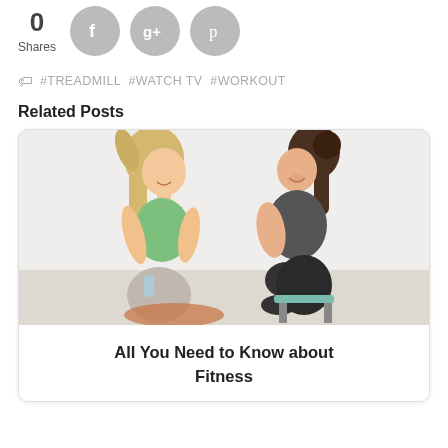0 Shares
[Figure (illustration): Social media share buttons: Facebook (f), Google+ (g+), Pinterest (p) as grey circles]
#TREADMILL #WATCH TV #WORKOUT
Related Posts
[Figure (photo): Two women in workout clothes sitting and laughing together in a gym/fitness setting]
All You Need to Know about Fitness